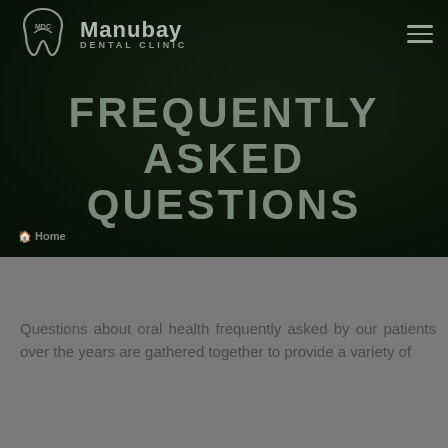[Figure (logo): Manubay Dental Clinic logo with tooth icon and MDC text]
FREQUENTLY ASKED QUESTIONS
Home
Questions about oral health frequently asked by our patients over the years are gathered together to provide a variety of